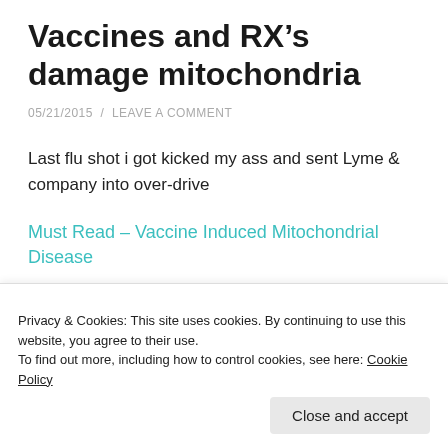Vaccines and RX’s damage mitochondria
05/21/2015  /  LEAVE A COMMENT
Last flu shot i got kicked my ass and sent Lyme & company into over-drive
Must Read – Vaccine Induced Mitochondrial Disease
Share this:
Privacy & Cookies: This site uses cookies. By continuing to use this website, you agree to their use.
To find out more, including how to control cookies, see here: Cookie Policy
Close and accept